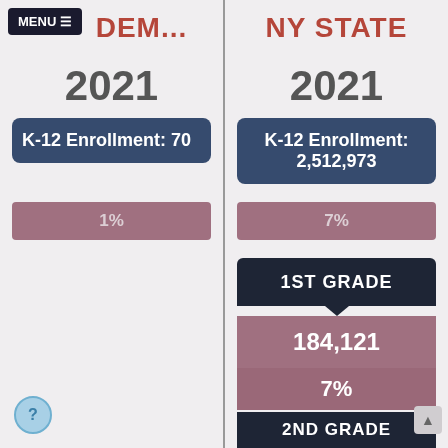ACADEM...
2021
K-12 Enrollment: 70
1%
NY STATE
2021
K-12 Enrollment: 2,512,973
7%
1ST GRADE
184,121
7%
2ND GRADE